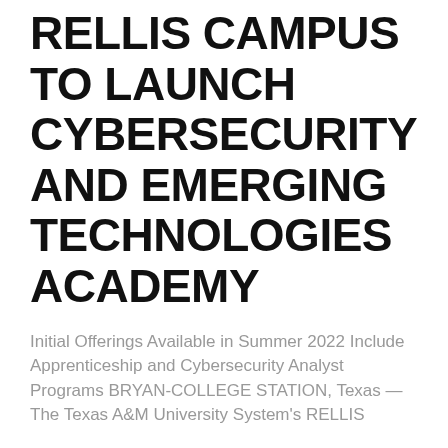RELLIS CAMPUS TO LAUNCH CYBERSECURITY AND EMERGING TECHNOLOGIES ACADEMY
Initial Offerings Available in Summer 2022 Include Apprenticeship and Cybersecurity Analyst Programs BRYAN-COLLEGE STATION, Texas — The Texas A&M University System's RELLIS
READ MORE »
May 16, 2022